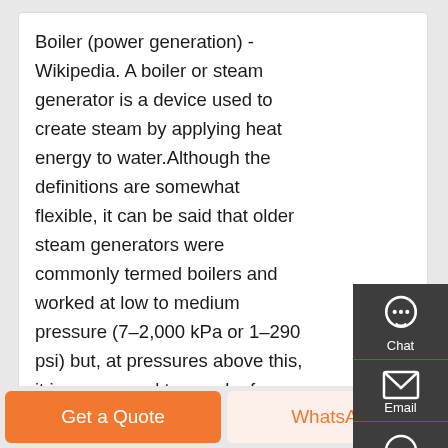Boiler (power generation) - Wikipedia. A boiler or steam generator is a device used to create steam by applying heat energy to water.Although the definitions are somewhat flexible, it can be said that older steam generators were commonly termed boilers and worked at low to medium pressure (7–2,000 kPa or 1–290 psi) but, at pressures above this, it is more usual to speak of a ...
[Figure (other): Side panel with chat, email, and contact icons on dark background]
[Figure (photo): Partial photo of boiler/pipe equipment with orange and grey metallic parts]
Get A Quote
Get a Quote
WhatsApp